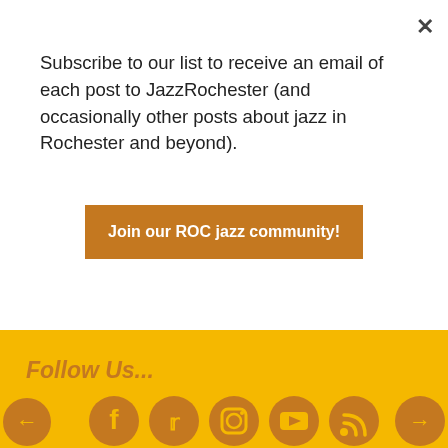Subscribe to our list to receive an email of each post to JazzRochester (and occasionally other posts about jazz in Rochester and beyond).
Join our ROC jazz community!
The comments to this entry are closed.
Follow Us...
[Figure (illustration): Social media icons row: Facebook, Twitter, Instagram, YouTube, RSS feed. Left and right arrow navigation buttons on either side.]